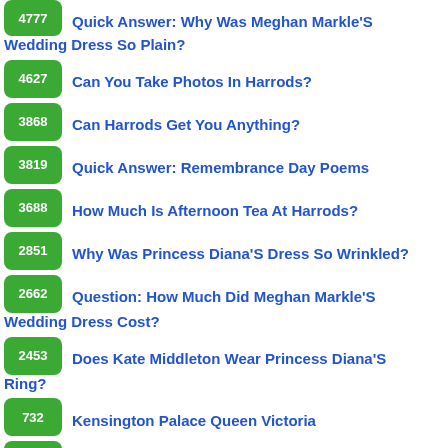4777 Quick Answer: Why Was Meghan Markle'S Wedding Dress So Plain?
4627 Can You Take Photos In Harrods?
3868 Can Harrods Get You Anything?
3819 Quick Answer: Remembrance Day Poems
3688 How Much Is Afternoon Tea At Harrods?
2851 Why Was Princess Diana'S Dress So Wrinkled?
2662 Question: How Much Did Meghan Markle'S Wedding Dress Cost?
2453 Does Kate Middleton Wear Princess Diana'S Ring?
732 Kensington Palace Queen Victoria
511 Kensington Palace Dress Exhibition